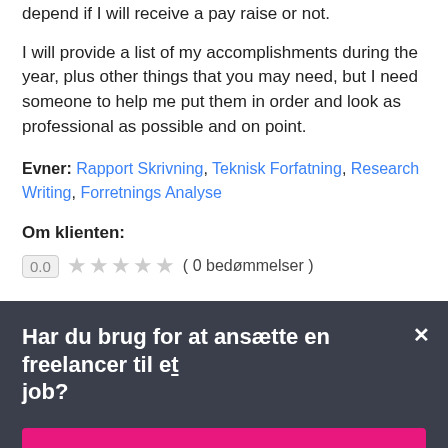depend if I will receive a pay raise or not.
I will provide a list of my accomplishments during the year, plus other things that you may need, but I need someone to help me put them in order and look as professional as possible and on point.
Evner: Rapport Skrivning, Teknisk Forfatning, Research Writing, Forretnings Analyse
Om klienten:
0.0 ★★★★★ ( 0 bedømmelser )
Har du brug for at ansætte en freelancer til et job?
Opret et projekt